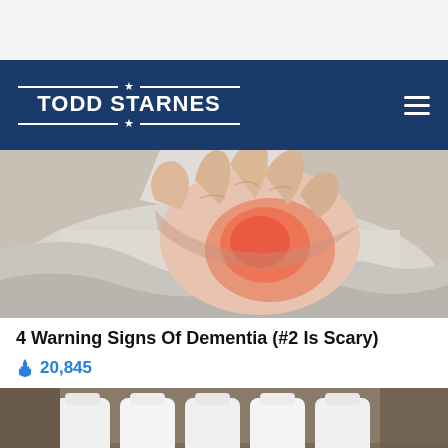TODD STARNES
[Figure (photo): A hand with reddish/orange tint pressed against a person's chest wearing a white shirt, suggesting chest pain or a medical symptom]
4 Warning Signs Of Dementia (#2 Is Scary)
🔥 20,845
[Figure (photo): White medicine/supplement bottles arranged on a surface, with video player controls visible at bottom left]